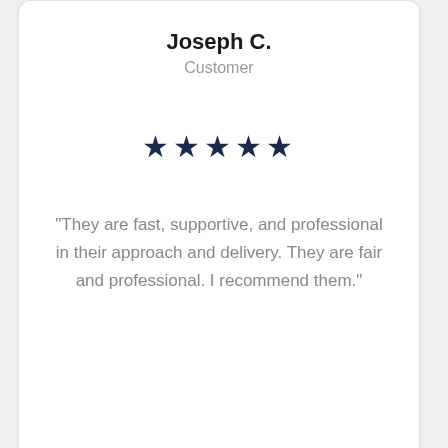Joseph C.
Customer
[Figure (other): Five dark navy filled star icons representing a 5-star rating]
“They are fast, supportive, and professional in their approach and delivery. They are fair and professional. I recommend them.”
[Figure (other): Dark grey scroll-to-top button with upward chevron arrow]
English >
[Figure (other): US flag icon in language selector]